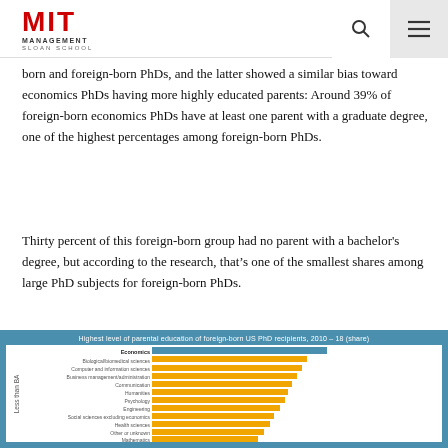MIT Management Sloan School
born and foreign-born PhDs, and the latter showed a similar bias toward economics PhDs having more highly educated parents: Around 39% of foreign-born economics PhDs have at least one parent with a graduate degree, one of the highest percentages among foreign-born PhDs.
Thirty percent of this foreign-born group had no parent with a bachelor's degree, but according to the research, that's one of the smallest shares among large PhD subjects for foreign-born PhDs.
[Figure (bar-chart): Horizontal bar chart showing parental education levels (less than BA) for foreign-born US PhD recipients by field, 2010-18]